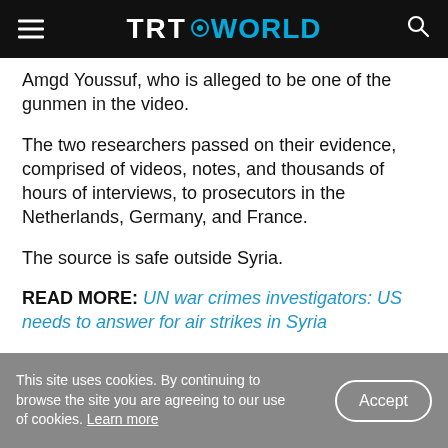TRT WORLD
Amgd Youssuf, who is alleged to be one of the gunmen in the video.
The two researchers passed on their evidence, comprised of videos, notes, and thousands of hours of interviews, to prosecutors in the Netherlands, Germany, and France.
The source is safe outside Syria.
READ MORE: UN war crimes investigators: US needs to answer for air strikes in Syria
This site uses cookies. By continuing to browse the site you are agreeing to our use of cookies. Learn more